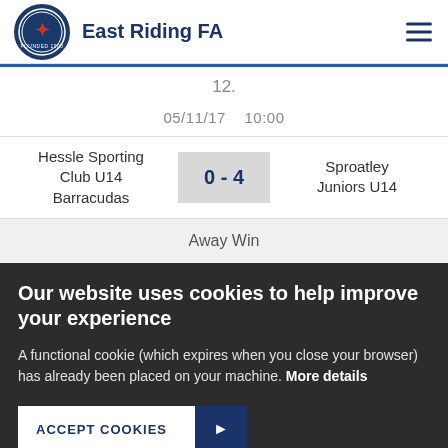East Riding FA
12.
05/11/17   10:00
| Home | Score | Away |
| --- | --- | --- |
| Hessle Sporting Club U14 Barracudas | 0 - 4 | Sproatley Juniors U14 |
Away Win
Our website uses cookies to help improve your experience
A functional cookie (which expires when you close your browser) has already been placed on your machine. More details
ACCEPT COOKIES